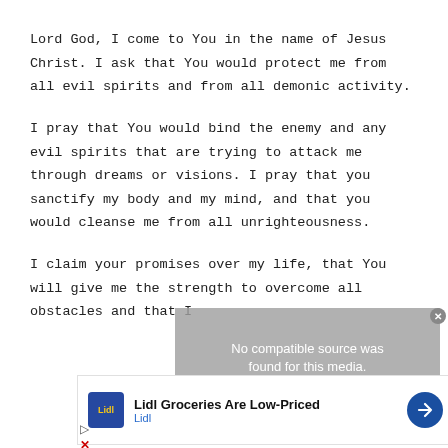Lord God, I come to You in the name of Jesus Christ. I ask that You would protect me from all evil spirits and from all demonic activity.
I pray that You would bind the enemy and any evil spirits that are trying to attack me through dreams or visions. I pray that you sanctify my body and my mind, and that you would cleanse me from all unrighteousness.
I claim your promises over my life, that You will give me the strength to overcome all obstacles and that I
[Figure (other): Video player overlay showing 'No compatible source was found for this media' error message with gray background]
[Figure (other): Lidl advertisement banner showing Lidl logo, text 'Lidl Groceries Are Low-Priced', 'Lidl' subtext, and a blue navigation arrow icon]